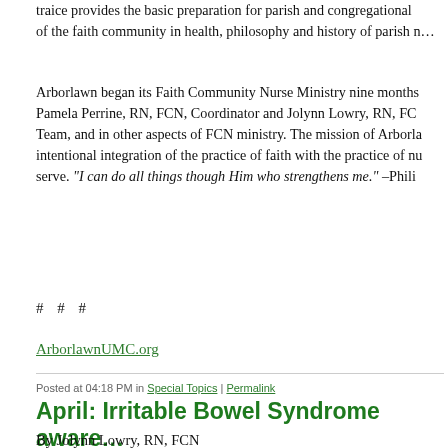...traice provides the basic preparation for parish and congregational of the faith community in health, philosophy and history of parish n...
Arborlawn began its Faith Community Nurse Ministry nine months... Pamela Perrine, RN, FCN, Coordinator and Jolynn Lowry, RN, FCN Team, and in other aspects of FCN ministry. The mission of Arborla... intentional integration of the practice of faith with the practice of nu... serve. "I can do all things though Him who strengthens me." –Phili...
# # #
ArborlawnUMC.org
Posted at 04:18 PM in Special Topics | Permalink
April: Irritable Bowel Syndrome aware...
By Jolynn Lowry, RN, FCN
[Editor's Note: April is Irritable Bowel Syndrome Awareness Month...